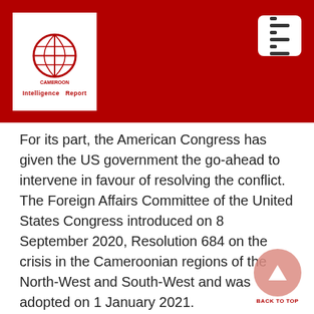[Figure (logo): Cameroon Intelligence Report logo — globe icon with 'CAMEROON Intelligence Report' text on white background, set in a dark red/crimson header bar with a hamburger menu icon on the right.]
For its part, the American Congress has given the US government the go-ahead to intervene in favour of resolving the conflict. The Foreign Affairs Committee of the United States Congress introduced on 8 September 2020, Resolution 684 on the crisis in the Cameroonian regions of the North-West and South-West and was adopted on 1 January 2021.
Resolution 684 condemned the abuses committed by state security forces and armed groups in the northwest and southwest regions of Cameroon, and affirmed that the United States continues to hold the Government of Cameroon